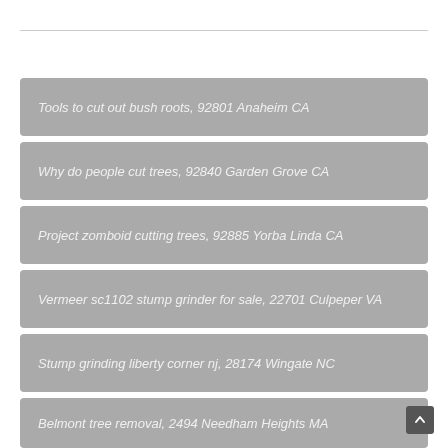Tools to cut out bush roots, 92801 Anaheim CA
Why do people cut trees, 92840 Garden Grove CA
Project zomboid cutting trees, 92885 Yorba Linda CA
Vermeer sc1102 stump grinder for sale, 22701 Culpeper VA
Stump grinding liberty corner nj, 28174 Wingate NC
Belmont tree removal, 2494 Needham Heights MA
Tree stump grinder rental tru value shrewsbury, 2478 Belmont